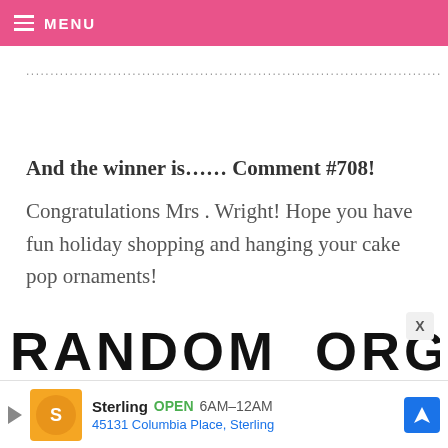MENU
......................................................................................
And the winner is…… Comment #708!
Congratulations Mrs . Wright! Hope you have fun holiday shopping and hanging your cake pop ornaments!
RANDOM ORG
[Figure (screenshot): Advertisement banner: Sterling restaurant, OPEN 6AM–12AM, 45131 Columbia Place, Sterling]